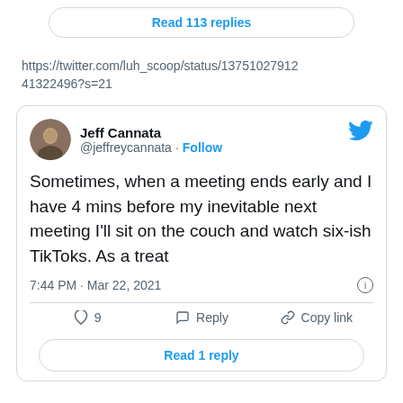Read 113 replies
https://twitter.com/luh_scoop/status/137510279124 1322496?s=21
[Figure (screenshot): Embedded tweet card from Jeff Cannata (@jeffreycannata) with Follow button and Twitter bird icon. Tweet text: Sometimes, when a meeting ends early and I have 4 mins before my inevitable next meeting I'll sit on the couch and watch six-ish TikToks. As a treat. Timestamp: 7:44 PM · Mar 22, 2021. Actions: 9 likes, Reply, Copy link. Read 1 reply button.]